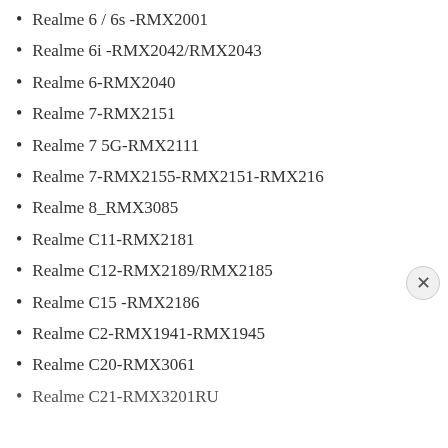Realme 6 / 6s -RMX2001
Realme 6i -RMX2042/RMX2043
Realme 6-RMX2040
Realme 7-RMX2151
Realme 7 5G-RMX2111
Realme 7-RMX2155-RMX2151-RMX216
Realme 8_RMX3085
Realme C11-RMX2181
Realme C12-RMX2189/RMX2185
Realme C15 -RMX2186
Realme C2-RMX1941-RMX1945
Realme C20-RMX3061
Realme C21-RMX3201RU